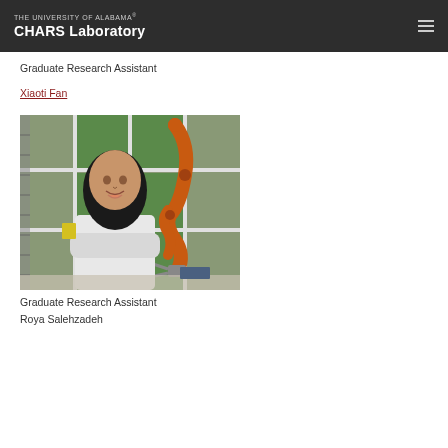THE UNIVERSITY OF ALABAMA® CHARS Laboratory
Graduate Research Assistant
Xiaoti Fan
[Figure (photo): Photo of a young woman with long dark hair, arms crossed, smiling, standing in front of an orange robotic arm in a laboratory setting with green and white grid-paneled walls.]
Graduate Research Assistant
Roya Salehzadeh